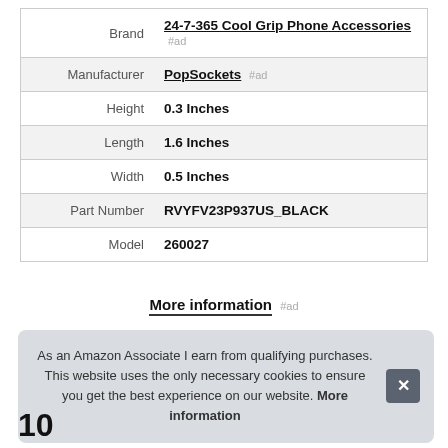|  |  |
| --- | --- |
| Brand | 24-7-365 Cool Grip Phone Accessories #ad |
| Manufacturer | PopSockets #ad |
| Height | 0.3 Inches |
| Length | 1.6 Inches |
| Width | 0.5 Inches |
| Part Number | RVYFV23P937US_BLACK |
| Model | 260027 |
More information #ad
As an Amazon Associate I earn from qualifying purchases. This website uses the only necessary cookies to ensure you get the best experience on our website. More information